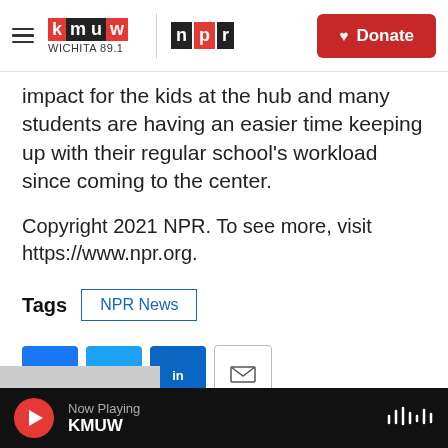[Figure (logo): KMUW Wichita 89.1 and NPR logos with hamburger menu and Donate button in header]
impact for the kids at the hub and many students are having an easier time keeping up with their regular school's workload since coming to the center.
Copyright 2021 NPR. To see more, visit https://www.npr.org.
Tags  NPR News
[Figure (other): Social sharing buttons: Facebook, Twitter, LinkedIn, Email]
Now Playing KMUW